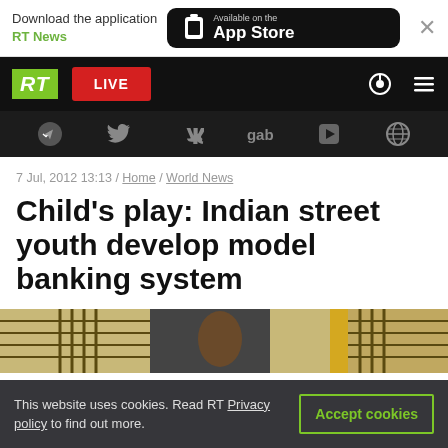Download the application RT News — Available on the App Store
[Figure (screenshot): RT news website navigation bar with green RT logo, red LIVE button, search and menu icons]
[Figure (screenshot): Social media icons bar: Telegram, Twitter, VK, gab, Rumble, browser icon on dark background]
7 Jul, 2012 13:13 / Home / World News
Child's play: Indian street youth develop model banking system
[Figure (photo): Partial photo of people behind a grid/fence structure, partially visible at bottom of article]
This website uses cookies. Read RT Privacy policy to find out more.
Accept cookies